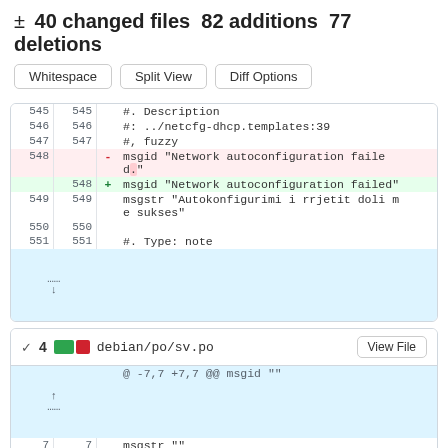± 40 changed files 82 additions 77 deletions
| old ln | new ln | sign | code |
| --- | --- | --- | --- |
| 545 | 545 |  | #. Description |
| 546 | 546 |  | #: ../netcfg-dhcp.templates:39 |
| 547 | 547 |  | #, fuzzy |
| 548 |  | - | msgid "Network autoconfiguration failed." |
|  | 548 | + | msgid "Network autoconfiguration failed" |
| 549 | 549 |  | msgstr "Autokonfigurimi i rrjetit doli me sukses" |
| 550 | 550 |  |  |
| 551 | 551 |  | #. Type: note |
| old ln | new ln | sign | code |
| --- | --- | --- | --- |
|  |  |  | @ -7,7 +7,7 @@ msgid "" |
| 7 | 7 |  | msgstr "" |
| 8 | 8 |  | "Project-Id-Version: netcfg\n" |
| 9 | 9 |  | "Report-Msgid-Bugs-To: \n" |